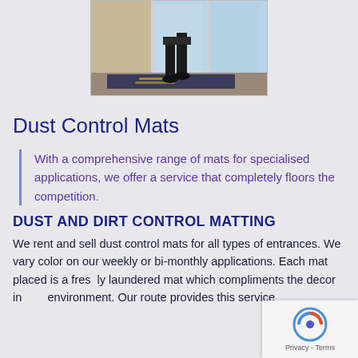[Figure (photo): Person walking on a branded entrance mat at a building entrance with glass doors]
Dust Control Mats
With a comprehensive range of mats for specialised applications, we offer a service that completely floors the competition.
DUST AND DIRT CONTROL MATTING
We rent and sell dust control mats for all types of entrances. We vary color on our weekly or bi-monthly applications. Each mat placed is a freshly laundered mat which compliments the decor in your environment. Our route provides this service